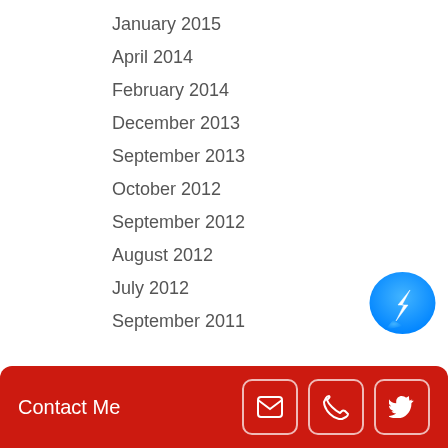January 2015
April 2014
February 2014
December 2013
September 2013
October 2012
September 2012
August 2012
July 2012
September 2011
[Figure (logo): Facebook Messenger app icon — blue circle with white lightning bolt chat bubble]
CATEGORIES
Contact Me [email icon] [phone icon] [twitter icon]